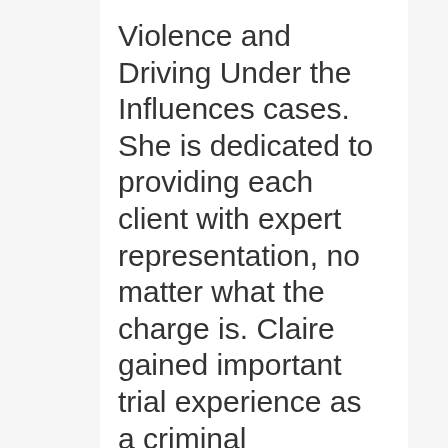Violence and Driving Under the Influences cases. She is dedicated to providing each client with expert representation, no matter what the charge is. Claire gained important trial experience as a criminal